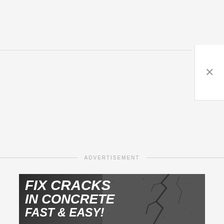[Figure (screenshot): Browser UI showing a close (X) button in the top right area, with a horizontal separator line, indicating a dismissible overlay or modal panel.]
ADVERTISEMENT
[Figure (illustration): Advertisement banner with dark concrete textured background showing cracks, with bold white italic text reading: FIX CRACKS IN CONCRETE FAST & EASY!]